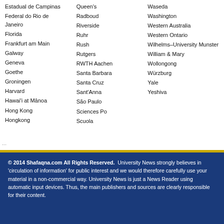Estadual de Campinas
Federal do Rio de Janeiro
Florida
Frankfurt am Main
Galway
Geneva
Goethe
Groningen
Harvard
Hawai'i at Mānoa
Hong Kong
Hongkong
Queen's
Radboud
Riverside
Ruhr
Rush
Rutgers
RWTH Aachen
Santa Barbara
Santa Cruz
Sant'Anna
São Paulo
Sciences Po
Scuola
Waseda
Washington
Western Australia
Western Ontario
Wilhelms–University Munster
William & Mary
Wollongong
Würzburg
Yale
Yeshiva
© 2014 Shafaqna.com All Rights Reserved. University News strongly believes in 'circulation of information' for public interest and we would therefore carefully use your material in a non-commercial way. University News is just a News Reader using automatic input devices. Thus, the main publishers and sources are clearly responsible for their content.